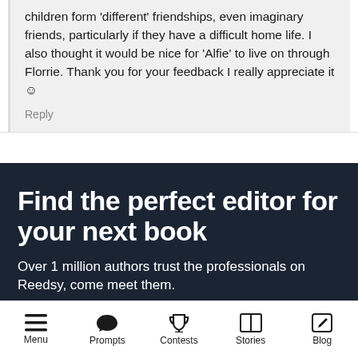children form 'different' friendships, even imaginary friends, particularly if they have a difficult home life. I also thought it would be nice for 'Alfie' to live on through Florrie. Thank you for your feedback I really appreciate it ☺
Reply
Find the perfect editor for your next book
Over 1 million authors trust the professionals on Reedsy, come meet them.
Menu  Prompts  Contests  Stories  Blog